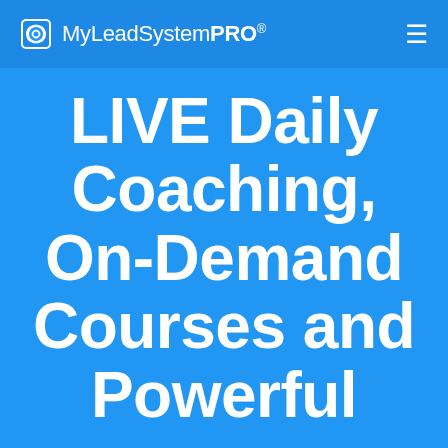MyLeadSystemPRO®
LIVE Daily Coaching, On-Demand Courses and Powerful